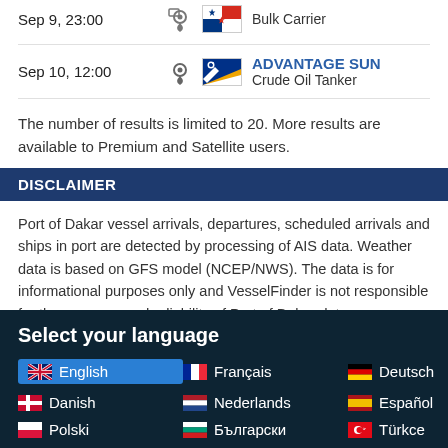Sep 9, 23:00 — Bulk Carrier (Panama flag)
Sep 10, 12:00 — ADVANTAGE SUN — Crude Oil Tanker
The number of results is limited to 20. More results are available to Premium and Satellite users.
DISCLAIMER
Port of Dakar vessel arrivals, departures, scheduled arrivals and ships in port are detected by processing of AIS data. Weather data is based on GFS model (NCEP/NWS). The data is for informational purposes only and VesselFinder is not responsible for the accuracy and reliability of Port of Dakar data.
Select your language
English, Français, Deutsch, Danish, Nederlands, Español, Polski, Български, Türkce